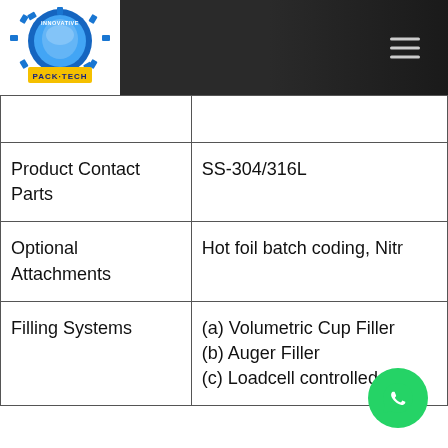[Figure (logo): Innovative Pack-Tech company logo with gear and circular design]
|  |  |
| Product Contact Parts | SS-304/316L |
| Optional Attachments | Hot foil batch coding, Nitr... |
| Filling Systems | (a) Volumetric Cup Filler
(b) Auger Filler
(c) Loadcell controlled we... |
[Figure (logo): WhatsApp contact button (green circle with phone icon)]